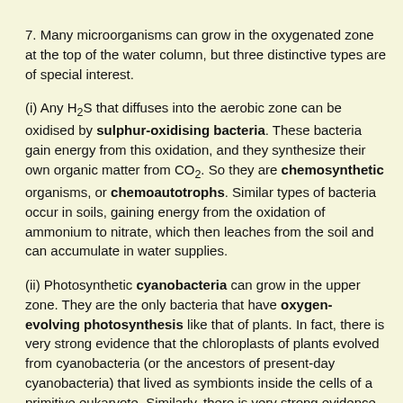7. Many microorganisms can grow in the oxygenated zone at the top of the water column, but three distinctive types are of special interest.
(i) Any H₂S that diffuses into the aerobic zone can be oxidised by sulphur-oxidising bacteria. These bacteria gain energy from this oxidation, and they synthesize their own organic matter from CO₂. So they are chemosynthetic organisms, or chemoautotrophs. Similar types of bacteria occur in soils, gaining energy from the oxidation of ammonium to nitrate, which then leaches from the soil and can accumulate in water supplies.
(ii) Photosynthetic cyanobacteria can grow in the upper zone. They are the only bacteria that have oxygen-evolving photosynthesis like that of plants. In fact, there is very strong evidence that the chloroplasts of plants evolved from cyanobacteria (or the ancestors of present-day cyanobacteria) that lived as symbionts inside the cells of a primitive eukaryote. Similarly, there is very strong evidence that the mitochondria of present-day eukaryotes were derived from purple bacteria.
Once the cyanobacteria start to grow they can oxygenate much of the water, as happened in column 2 (Fig. A) at the top of this page - the whole water column was dominated by a mass of cyanobacteria composed of spiral filaments (see Fig. D).